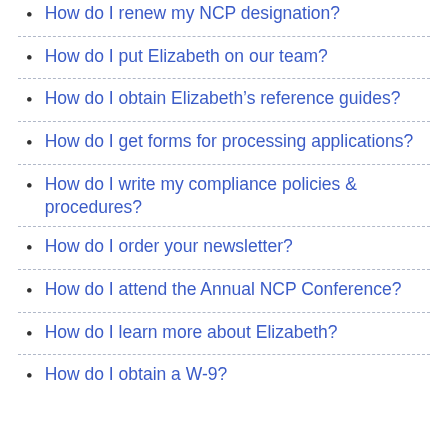How do I renew my NCP designation?
How do I put Elizabeth on our team?
How do I obtain Elizabeth's reference guides?
How do I get forms for processing applications?
How do I write my compliance policies & procedures?
How do I order your newsletter?
How do I attend the Annual NCP Conference?
How do I learn more about Elizabeth?
How do I obtain a W-9?